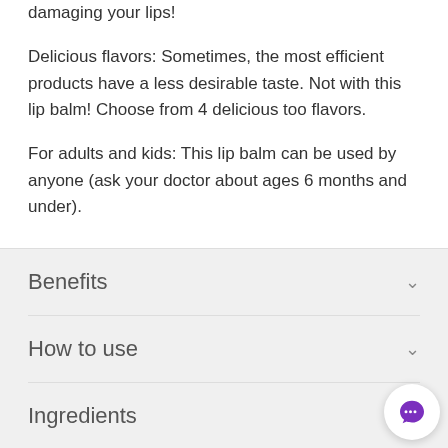damaging your lips!
Delicious flavors: Sometimes, the most efficient products have a less desirable taste. Not with this lip balm!  Choose from 4 delicious too flavors.
For adults and kids: This lip balm can be used by anyone (ask your doctor about ages 6 months and under).
Benefits
How to use
Ingredients
About the brand